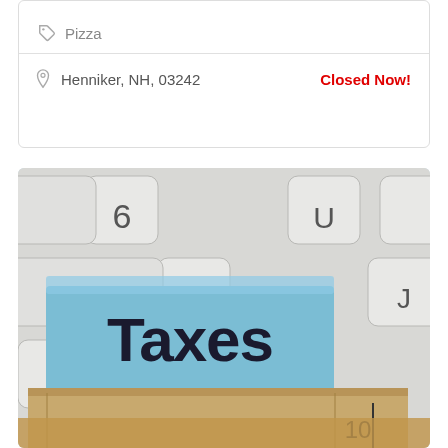Pizza
Henniker, NH, 03242
Closed Now!
[Figure (photo): Photo of a blue 'Taxes' file folder tab resting on a keyboard with manila folder below, with keyboard keys including 6, Z, U, T, J visible in background and number 10 visible on folder.]